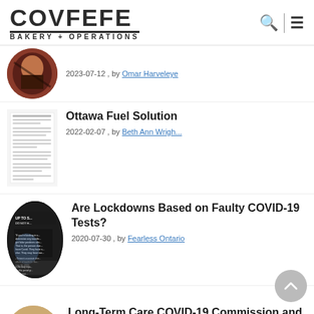[Figure (logo): COVFEFE BAKERY + OPERATIONS logo in black bold uppercase text]
2023-07-12 , by Omar Harveleye
Ottawa Fuel Solution
2022-02-07 , by Beth Ann Wrigh...
Are Lockdowns Based on Faulty COVID-19 Tests?
2020-07-30 , by Fearless Ontario
Long-Term Care COVID-19 Commission and The Geronticide Debrief